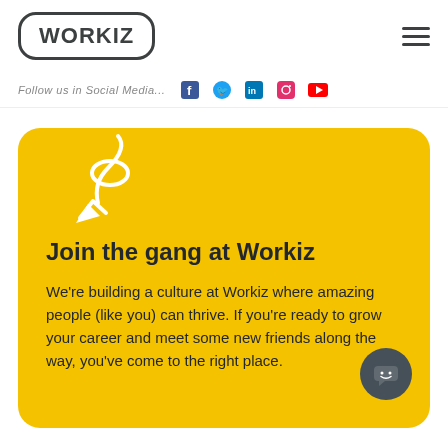WORKIZ
Follow us in Social Media...
[Figure (illustration): White curvy arrow illustration pointing downward on yellow background]
Join the gang at Workiz
We're building a culture at Workiz where amazing people (like you) can thrive. If you're ready to grow your career and meet some new friends along the way, you've come to the right place.